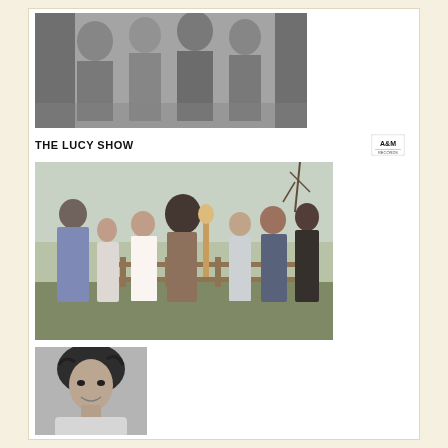[Figure (photo): Black and white promotional photo of The Lucy Show band members in formal attire]
THE LUCY SHOW
[Figure (logo): A&M Records logo]
[Figure (photo): Color outdoor photograph of a group of young people standing near a wooden fence with countryside in the background]
[Figure (photo): Black and white portrait photograph of a person with dark curly hair wearing a white top]